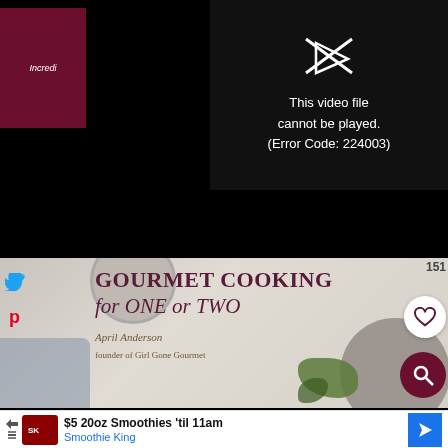[Figure (screenshot): Video player showing error: 'This video file cannot be played. (Error Code: 224003)' on black background]
[Figure (photo): Book cover of 'GOURMET COOKING for ONE or TWO' by April Anderson, founder of Girl Gone Gourmet, with food photography background]
151
[Figure (screenshot): Advertisement banner: '$5 20oz Smoothies 'til 11am - Smoothie King' with logo and navigation arrow]